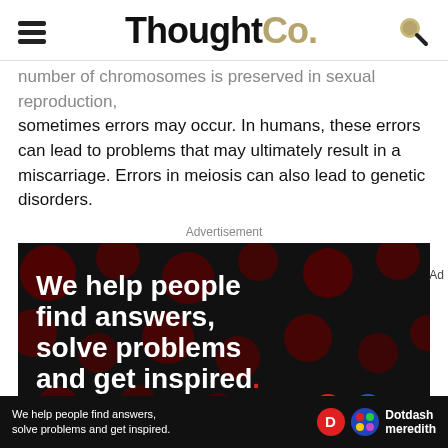ThoughtCo.
number of chromosomes is preserved in sexual reproduction, sometimes errors may occur. In humans, these errors can lead to problems that may ultimately result in a miscarriage. Errors in meiosis can also lead to genetic disorders.
Advertisement
[Figure (photo): Advertisement image with dark background and red polka dots showing text: 'We help people find answers, solve problems and get inspired.' with a red period. Bottom shows 'LEARN MORE' and circular icons. Bottom bar shows Dotdash Meredith branding.]